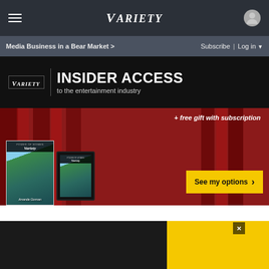Variety — navigation bar with hamburger menu, Variety logo, and user icon
Media Business in a Bear Market >
Subscribe | Log in ▼
[Figure (infographic): Variety Insider Access advertisement banner. Black top section with Variety logo and text 'INSIDER ACCESS to the entertainment industry'. Red curtain background below with Variety magazine print and tablet covers featuring Amanda Gorman, free gift with subscription text, and yellow 'See my options ›' button.]
[Figure (infographic): Partially visible 'STRICTLY BUSINESS' section header with a yellow circular icon, close X button, and bottom SPY advertisement showing 'SPY-TESTED MASSAGE GUN NOW JUST $79' with yellow SPY logo.]